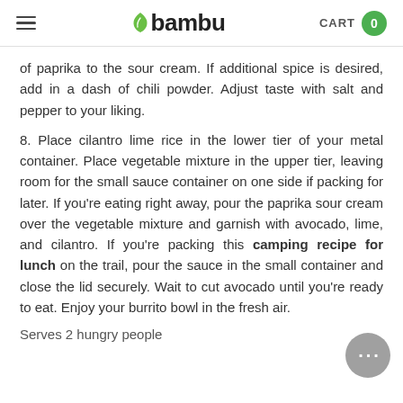bambu  CART 0
of paprika to the sour cream. If additional spice is desired, add in a dash of chili powder. Adjust taste with salt and pepper to your liking.
8. Place cilantro lime rice in the lower tier of your metal container. Place vegetable mixture in the upper tier, leaving room for the small sauce container on one side if packing for later. If you're eating right away, pour the paprika sour cream over the vegetable mixture and garnish with avocado, lime, and cilantro. If you're packing this camping recipe for lunch on the trail, pour the sauce in the small container and close the lid securely. Wait to cut avocado until you're ready to eat. Enjoy your burrito bowl in the fresh air.
Serves 2 hungry people